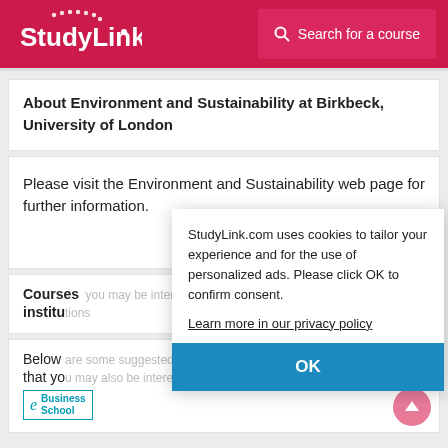StudyLink — Search for a course
About Environment and Sustainability at Birkbeck, University of London
Please visit the Environment and Sustainability web page for further information.
Courses you may be interested in at other institutions
Below are some suggested courses at other providers that you may also be interested in.
StudyLink.com uses cookies to tailor your experience and for the use of personalized ads. Please click OK to confirm consent. Learn more in our privacy policy OK